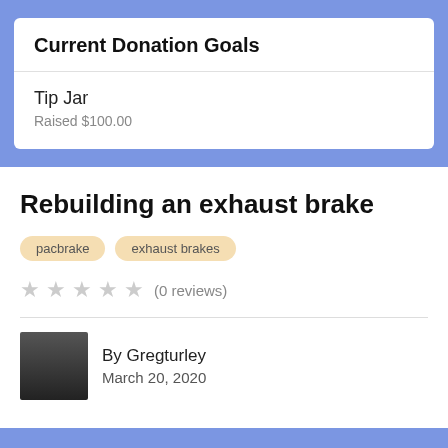Current Donation Goals
Tip Jar
Raised $100.00
Rebuilding an exhaust brake
pacbrake
exhaust brakes
(0 reviews)
By Gregturley
March 20, 2020
This article will detail my used Pacbrake install. Part numbers listed are the ones i used, unless noted, and what i know works. This can be